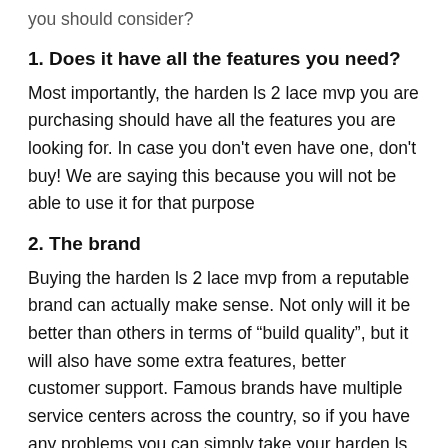you should consider?
1. Does it have all the features you need?
Most importantly, the harden ls 2 lace mvp you are purchasing should have all the features you are looking for. In case you don't even have one, don't buy! We are saying this because you will not be able to use it for that purpose
2. The brand
Buying the harden ls 2 lace mvp from a reputable brand can actually make sense. Not only will it be better than others in terms of “build quality”, but it will also have some extra features, better customer support. Famous brands have multiple service centers across the country, so if you have any problems you can simply take your harden ls 2 lace mvp to one of their service centers.
3. Budget and price matching
Make a list of the things you want in your harden ls 2 lace